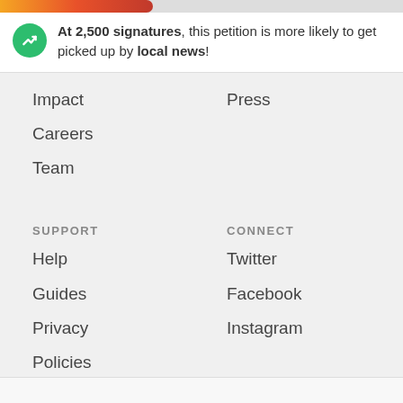At 2,500 signatures, this petition is more likely to get picked up by local news!
Impact
Press
Careers
Team
SUPPORT
CONNECT
Help
Twitter
Guides
Facebook
Privacy
Instagram
Policies
Cookies